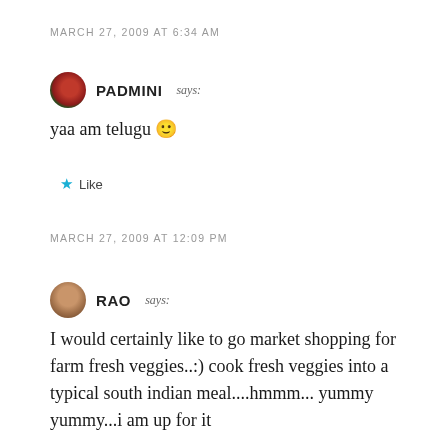MARCH 27, 2009 AT 6:34 AM
PADMINI says: yaa am telugu 🙂
Like
MARCH 27, 2009 AT 12:09 PM
RAO says: I would certainly like to go market shopping for farm fresh veggies..:) cook fresh veggies into a typical south indian meal....hmmm... yummy yummy...i am up for it